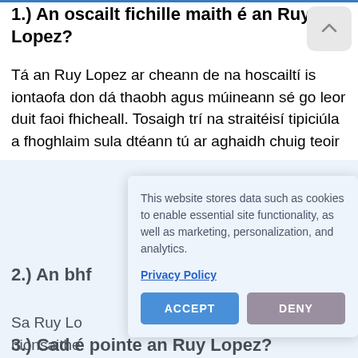1.) An oscailt fichille maith é an Ruy Lopez?
Tá an Ruy Lopez ar cheann de na hoscailtí is iontaofa don dá thaobh agus múineann sé go leor duit faoi fhicheall. Tosaigh trí na straitéisí tipiciúla a fhoghlaim sula dtéann tú ar aghaidh chuig teoir
2.) An bhf
Sa Ruy Lo hionsaithe
3.) Cad é pointe an Ruy Lopez?
This website stores data such as cookies to enable essential site functionality, as well as marketing, personalization, and analytics.

Privacy Policy

ACCEPT
DENY